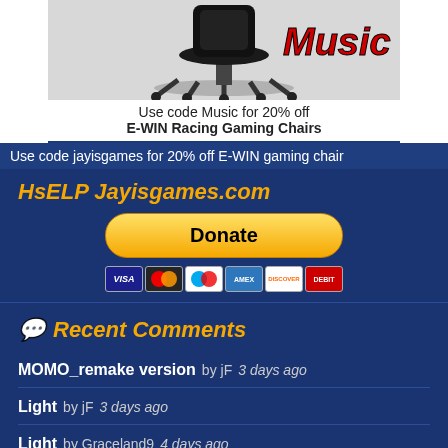[Figure (photo): Gaming chair advertisement image with 'Music' text in red italic]
Use code Music for 20% off E-WIN Racing Gaming Chairs
Use code jayisgames for 20% off E-WIN gaming chair
HsELP Jayisgames.com
[Figure (other): PayPal Donate button with payment method icons (VISA, Mastercard, Maestro, Amex, Discover, Debit)]
Recent Comments
MOMO_remake version  by jF  3 days ago
Light  by jF  3 days ago
Light  by Graceland9  4 days ago
Light  by Krizpu  4 days ago